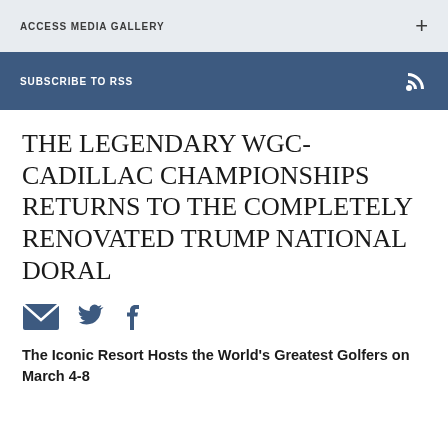ACCESS MEDIA GALLERY
SUBSCRIBE TO RSS
THE LEGENDARY WGC-CADILLAC CHAMPIONSHIPS RETURNS TO THE COMPLETELY RENOVATED TRUMP NATIONAL DORAL
[Figure (infographic): Social sharing icons: email envelope, Twitter bird, Facebook f]
The Iconic Resort Hosts the World's Greatest Golfers on March 4-8